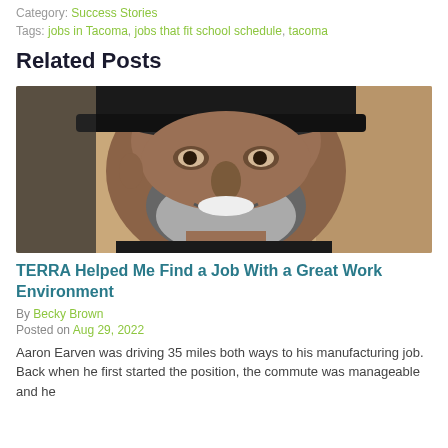Category: Success Stories
Tags: jobs in Tacoma, jobs that fit school schedule, tacoma
Related Posts
[Figure (photo): Close-up photo of a middle-aged man with a grey beard and black cap, smiling at the camera]
TERRA Helped Me Find a Job With a Great Work Environment
By Becky Brown
Posted on Aug 29, 2022
Aaron Earven was driving 35 miles both ways to his manufacturing job. Back when he first started the position, the commute was manageable and he